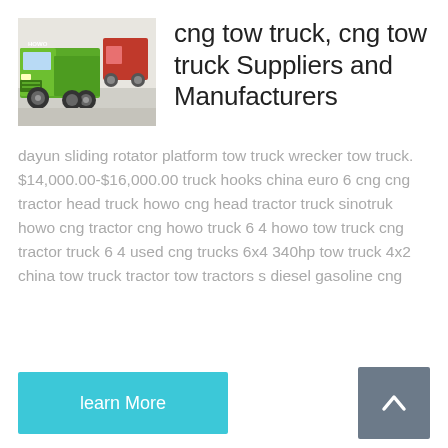[Figure (photo): A green CNG tow truck / heavy truck photographed at what appears to be a trade show or exhibition, with red truck visible in background.]
cng tow truck, cng tow truck Suppliers and Manufacturers
dayun sliding rotator platform tow truck wrecker tow truck. $14,000.00-$16,000.00 truck hooks china euro 6 cng cng tractor head truck howo cng head tractor truck sinotruk howo cng tractor cng howo truck 6 4 howo tow truck cng tractor truck 6 4 used cng trucks 6x4 340hp tow truck 4x2 china tow truck tractor tow tractors s diesel gasoline cng
learn More